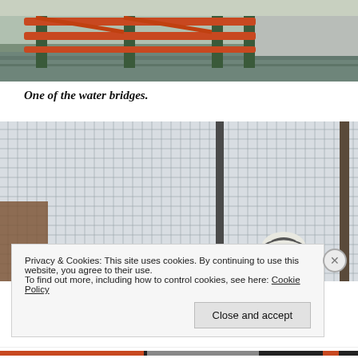[Figure (photo): Construction scaffolding and pipes over water, with a concrete wall in background. Metal framework in orange/red and green visible.]
One of the water bridges.
[Figure (photo): A cyclist wearing a white helmet visible behind a wire mesh fence/net. Grey sky in background with metal poles.]
Privacy & Cookies: This site uses cookies. By continuing to use this website, you agree to their use.
To find out more, including how to control cookies, see here: Cookie Policy